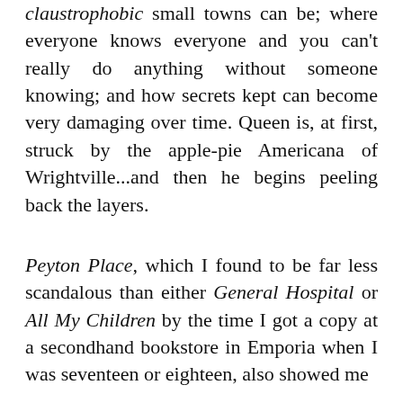claustrophobic small towns can be; where everyone knows everyone and you can't really do anything without someone knowing; and how secrets kept can become very damaging over time. Queen is, at first, struck by the apple-pie Americana of Wrightville...and then he begins peeling back the layers.
Peyton Place, which I found to be far less scandalous than either General Hospital or All My Children by the time I got a copy at a secondhand bookstore in Emporia when I was seventeen or eighteen, also showed me